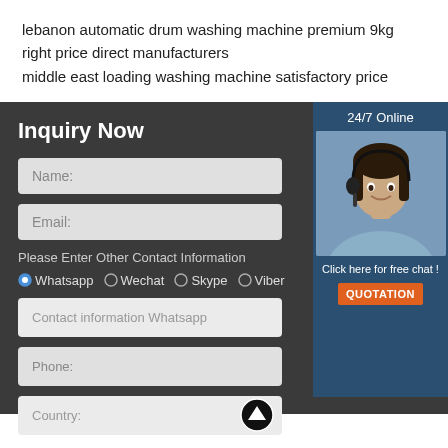lebanon automatic drum washing machine premium 9kg right price direct manufacturers
middle east loading washing machine satisfactory price
Inquiry Now
24/7 Online
[Figure (photo): Customer service agent woman with headset smiling]
Click here for free chat !
QUOTATION
Name:
Email:
Please Enter Other Contact Information
Whatsapp   Wechat   Skype   Viber
Contact information Whatsapp
Phone:
Country: